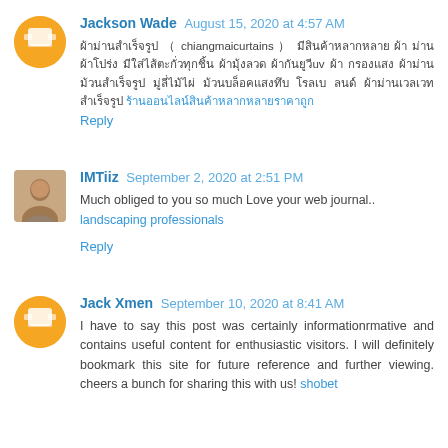Jackson Wade  August 15, 2020 at 4:57 AM
Thai text comment with chiangmaicurtains reference and UV mention
Reply
IMTiiz  September 2, 2020 at 2:51 PM
Much obliged to you so much Love your web journal.. landscaping professionals
Reply
Jack Xmen  September 10, 2020 at 8:41 AM
I have to say this post was certainly informationrmative and contains useful content for enthusiastic visitors. I will definitely bookmark this site for future reference and further viewing. cheers a bunch for sharing this with us! shobet